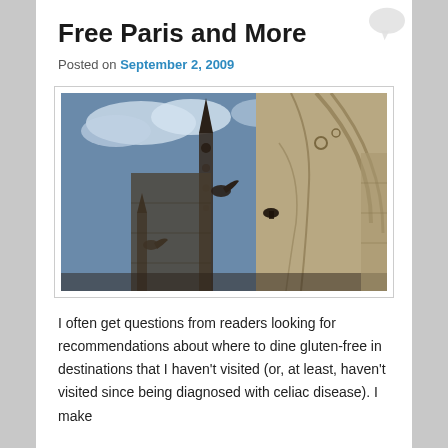Free Paris and More
Posted on September 2, 2009
[Figure (photo): Photograph looking up at a Gothic cathedral with gargoyles and ornate stone spires against a partly cloudy blue sky]
I often get questions from readers looking for recommendations about where to dine gluten-free in destinations that I haven't visited (or, at least, haven't visited since being diagnosed with celiac disease). I make